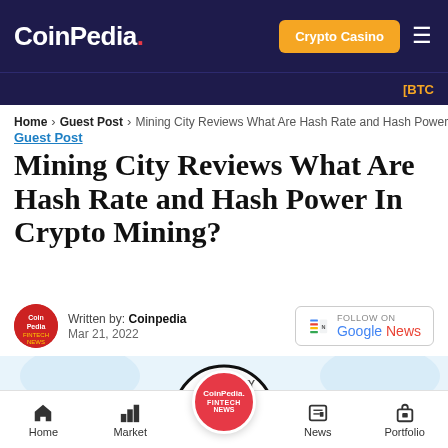CoinPedia.
[BTC
Home > Guest Post > Mining City Reviews What Are Hash Rate and Hash Power I...
Guest Post
Mining City Reviews What Are Hash Rate and Hash Power In Crypto Mining?
Written by: Coinpedia
Mar 21, 2022
[Figure (logo): Mining City logo — a circular logo with a hammer and city skyline icon in black and blue, overlaid with a red CoinPedia Fintech News circle badge]
Home  Market  News  Portfolio